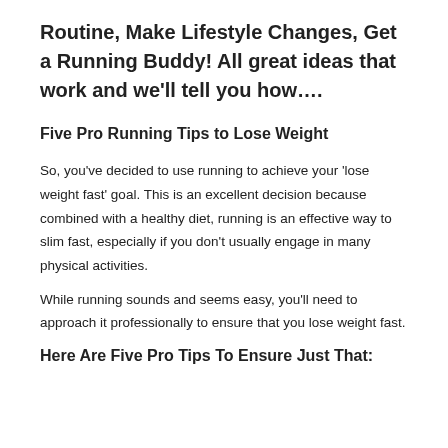Routine, Make Lifestyle Changes, Get a Running Buddy! All great ideas that work and we'll tell you how….
Five Pro Running Tips to Lose Weight
So, you've decided to use running to achieve your 'lose weight fast' goal. This is an excellent decision because combined with a healthy diet, running is an effective way to slim fast, especially if you don't usually engage in many physical activities.
While running sounds and seems easy, you'll need to approach it professionally to ensure that you lose weight fast.
Here Are Five Pro Tips To Ensure Just That: